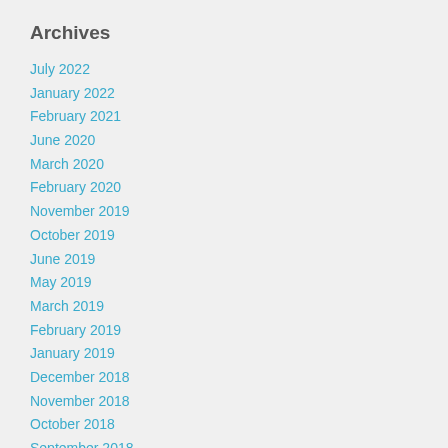Archives
July 2022
January 2022
February 2021
June 2020
March 2020
February 2020
November 2019
October 2019
June 2019
May 2019
March 2019
February 2019
January 2019
December 2018
November 2018
October 2018
September 2018
August 2018
July 2018
June 2018
May 2018